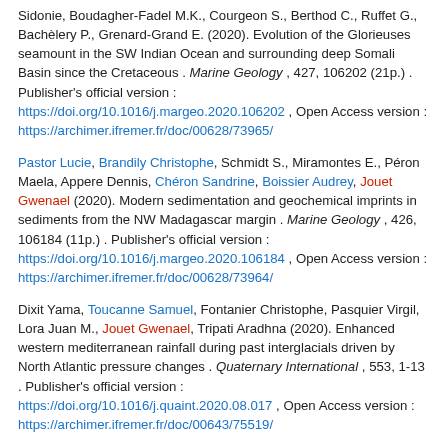Sidonie, Boudagher-Fadel M.K., Courgeon S., Berthod C., Ruffet G., Bachèlery P., Grenard-Grand E. (2020). Evolution of the Glorieuses seamount in the SW Indian Ocean and surrounding deep Somali Basin since the Cretaceous . Marine Geology , 427, 106202 (21p.) . Publisher's official version : https://doi.org/10.1016/j.margeo.2020.106202 , Open Access version : https://archimer.ifremer.fr/doc/00628/73965/
Pastor Lucie, Brandily Christophe, Schmidt S., Miramontes E., Péron Maela, Appere Dennis, Chéron Sandrine, Boissier Audrey, Jouet Gwenael (2020). Modern sedimentation and geochemical imprints in sediments from the NW Madagascar margin . Marine Geology , 426, 106184 (11p.) . Publisher's official version : https://doi.org/10.1016/j.margeo.2020.106184 , Open Access version : https://archimer.ifremer.fr/doc/00628/73964/
Dixit Yama, Toucanne Samuel, Fontanier Christophe, Pasquier Virgil, Lora Juan M., Jouet Gwenael, Tripati Aradhna (2020). Enhanced western mediterranean rainfall during past interglacials driven by North Atlantic pressure changes . Quaternary International , 553, 1-13 . Publisher's official version : https://doi.org/10.1016/j.quaint.2020.08.017 , Open Access version : https://archimer.ifremer.fr/doc/00643/75519/